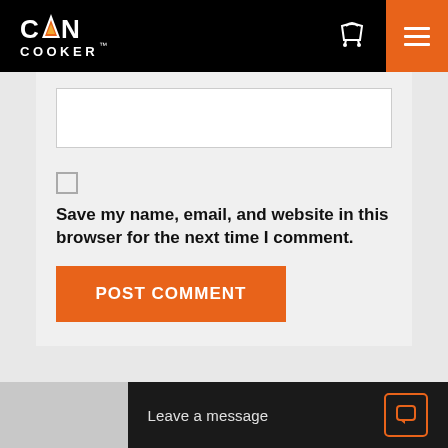[Figure (logo): Can Cooker logo on black header background with shopping cart icon and orange hamburger menu button]
[Figure (screenshot): Text input box (empty, white background with gray border)]
[Figure (screenshot): Checkbox (unchecked)]
Save my name, email, and website in this browser for the next time I comment.
[Figure (screenshot): Orange POST COMMENT button]
Leave a message